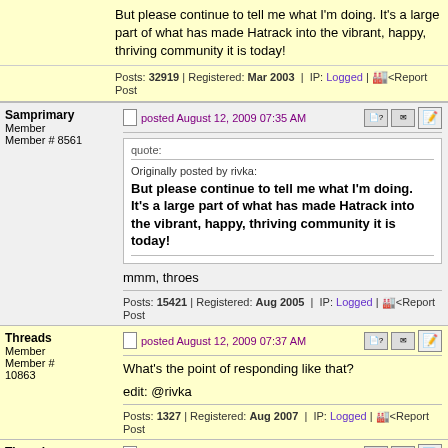But please continue to tell me what I'm doing. It's a large part of what has made Hatrack into the vibrant, happy, thriving community it is today!
Posts: 32919 | Registered: Mar 2003 | IP: Logged | Report Post
Samprimary
Member
Member # 8561
posted August 12, 2009 07:35 AM
quote:
Originally posted by rivka:
But please continue to tell me what I'm doing. It's a large part of what has made Hatrack into the vibrant, happy, thriving community it is today!
mmm, throes
Posts: 15421 | Registered: Aug 2005 | IP: Logged | Report Post
Threads
Member
Member # 10863
posted August 12, 2009 07:37 AM
What's the point of responding like that?
edit: @rivka
Posts: 1327 | Registered: Aug 2007 | IP: Logged | Report Post
Threads
Member
posted August 12, 2009 07:43 AM